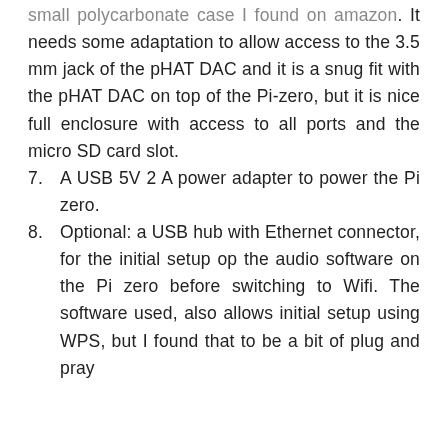small polycarbonate case I found on amazon. It needs some adaptation to allow access to the 3.5 mm jack of the pHAT DAC and it is a snug fit with the pHAT DAC on top of the Pi-zero, but it is nice full enclosure with access to all ports and the micro SD card slot.
7.  A USB 5V 2 A power adapter to power the Pi zero.
8. Optional: a USB hub with Ethernet connector, for the initial setup op the audio software on the Pi zero before switching to Wifi. The software used, also allows initial setup using WPS, but I found that to be a bit of plug and pray